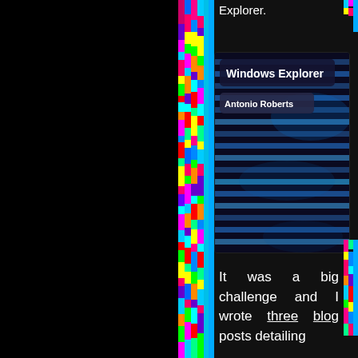Explorer.
[Figure (screenshot): A digital/glitch art image with colorful pixel strips on the sides and a dark blue horizontal striped background. Overlaid are two dark rounded-rectangle labels: one reading 'Windows Explorer' in bold white, and one reading 'Antonio Roberts' in bold white.]
It was a big challenge and I wrote three blog posts detailing